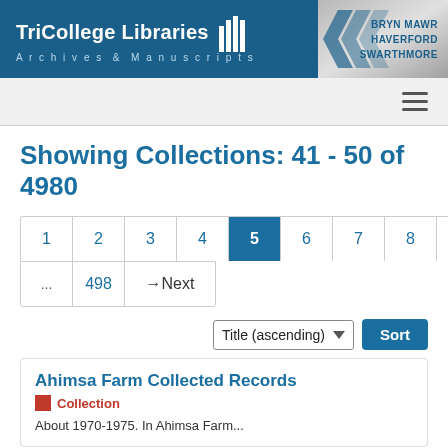TriCollege Libraries Archives & Manuscripts — BRYN MAWR HAVERFORD SWARTHMORE
Showing Collections: 41 - 50 of 4980
Pagination: 1 2 3 4 5 6 7 8 9 10 ... 498 → Next
Sort: Title (ascending)
Ahimsa Farm Collected Records
Collection
About 1970-1974. In Ahimsa Farm...